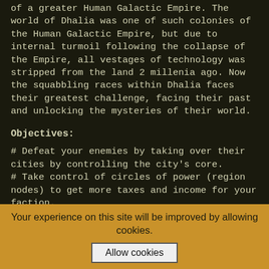of a greater Human Galactic Empire. The world of Dhalia was one of such colonies of the Human Galactic Empire, but due to internal turmoil following the collapse of the Empire, all vestages of technology was stripped from the land 2 millenia ago. Now the squabbling races within Dhalia faces their greatest challenge, facing their past and unlocking the mysteries of their world.
Objectives:
# Defeat your enemies by taking over their cities by controlling the city's core.
# Take control of circles of power (region nodes) to get more taxes and income for your faction.
# Use all means at your arsenal to ensure the ultimate success of your faction.
Delegating Buildings:
# You can delegate your team mates your buildings to help your team attack and defend
Your experience on this site will be improved by allowing cookies.
Allow cookies